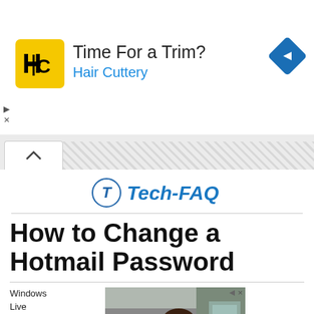[Figure (screenshot): Advertisement banner for Hair Cuttery with yellow logo, text 'Time For a Trim? Hair Cuttery' and blue navigation diamond icon]
[Figure (screenshot): Browser tab bar with active white tab showing caret/chevron up icon and hatched/striped inactive tab area]
[Figure (logo): Tech-FAQ logo: circle with stylized T/F letter mark followed by 'Tech-FAQ' in italic blue bold font]
How to Change a Hotmail Password
Windows Live Hotmail is a free email
[Figure (photo): Photo of a woman with bangs smiling, standing in front of what appears to be a store or vending machines, with a small ad badge in the top right corner]